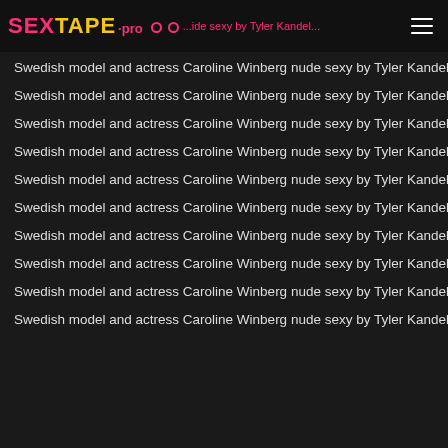SEXTAPE.pro
Swedish model and actress Caroline Winberg nude sexy by Tyler Kandel
Swedish model and actress Caroline Winberg nude sexy by Tyler Kandel
Swedish model and actress Caroline Winberg nude sexy by Tyler Kandel
Swedish model and actress Caroline Winberg nude sexy by Tyler Kandel
Swedish model and actress Caroline Winberg nude sexy by Tyler Kandel
Swedish model and actress Caroline Winberg nude sexy by Tyler Kandel
Swedish model and actress Caroline Winberg nude sexy by Tyler Kandel
Swedish model and actress Caroline Winberg nude sexy by Tyler Kandel
Swedish model and actress Caroline Winberg nude sexy by Tyler Kandel
Swedish model and actress Caroline Winberg nude sexy by Tyler Kandel